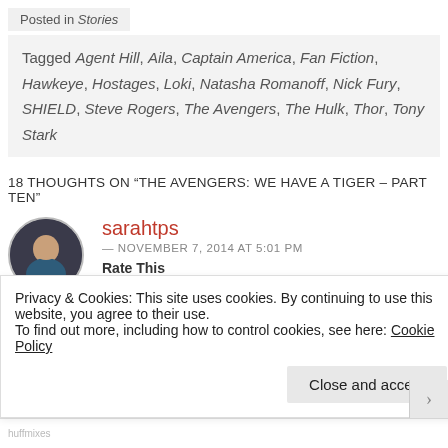Posted in Stories
Tagged Agent Hill, Aila, Captain America, Fan Fiction, Hawkeye, Hostages, Loki, Natasha Romanoff, Nick Fury, SHIELD, Steve Rogers, The Avengers, The Hulk, Thor, Tony Stark
18 THOUGHTS ON “THE AVENGERS: WE HAVE A TIGER – PART TEN”
sarahtps
— NOVEMBER 7, 2014 AT 5:01 PM
Rate This
👍 0 👎 0 ℹ️
Privacy & Cookies: This site uses cookies. By continuing to use this website, you agree to their use.
To find out more, including how to control cookies, see here: Cookie Policy
Close and accept